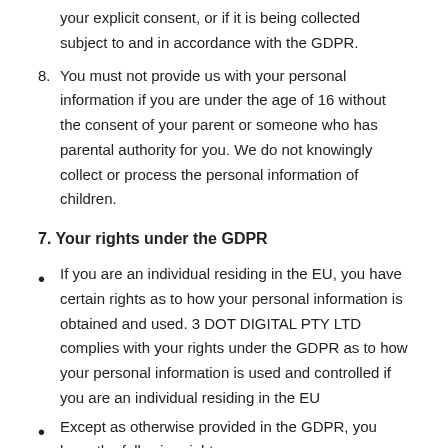your explicit consent, or if it is being collected subject to and in accordance with the GDPR.
8. You must not provide us with your personal information if you are under the age of 16 without the consent of your parent or someone who has parental authority for you. We do not knowingly collect or process the personal information of children.
7. Your rights under the GDPR
If you are an individual residing in the EU, you have certain rights as to how your personal information is obtained and used. 3 DOT DIGITAL PTY LTD complies with your rights under the GDPR as to how your personal information is used and controlled if you are an individual residing in the EU
Except as otherwise provided in the GDPR, you have the following rights: